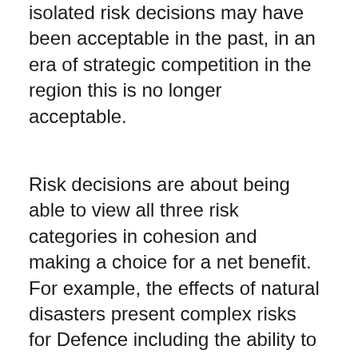isolated risk decisions may have been acceptable in the past, in an era of strategic competition in the region this is no longer acceptable.
Risk decisions are about being able to view all three risk categories in cohesion and making a choice for a net benefit. For example, the effects of natural disasters present complex risks for Defence including the ability to respond at a notice against drought, fires and inundation within Australian borders. While outside Australian borders, major effects of natural disasters can be large-scale human suffering, instability in the region, conflict, and substantial population